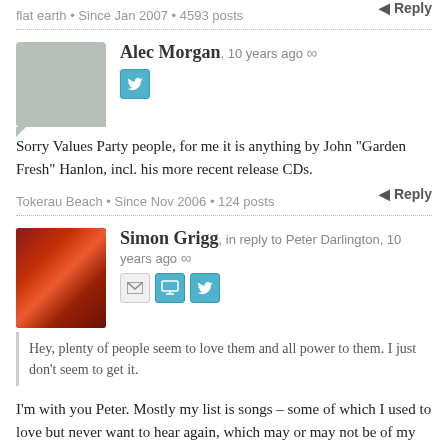flat earth • Since Jan 2007 • 4593 posts
Reply
Alec Morgan, 10 years ago ∞
Sorry Values Party people, for me it is anything by John "Garden Fresh" Hanlon, incl. his more recent release CDs.
Tokerau Beach • Since Nov 2006 • 124 posts
Reply
Simon Grigg, in reply to Peter Darlington, 10 years ago ∞
Hey, plenty of people seem to love them and all power to them. I just don't seem to get it.
I'm with you Peter. Mostly my list is songs – some of which I used to love but never want to hear again, which may or may not be of my doing. My